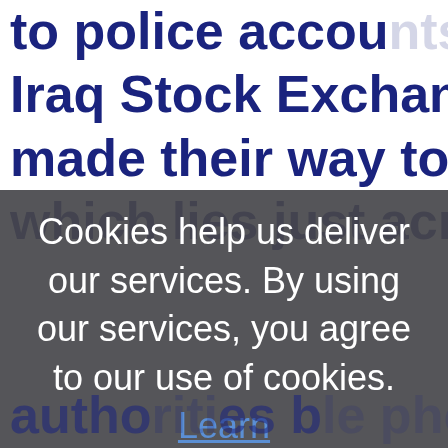to police accounts, initially attacked the Iraq Stock Exchange building and made their way to the Catholic church, which lies just across the road, and to kill the priest security forces authorities responsible phone
Cookies help us deliver our services. By using our services, you agree to our use of cookies. Learn more
OK